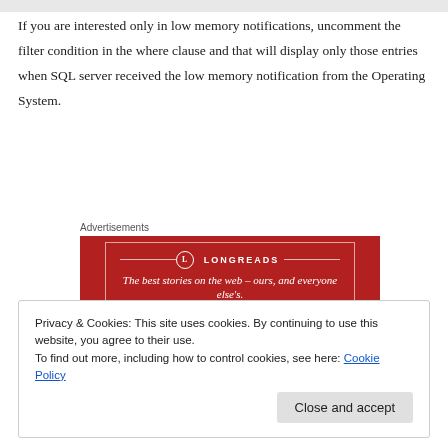If you are interested only in low memory notifications, uncomment the filter condition in the where clause and that will display only those entries when SQL server received the low memory notification from the Operating System.
[Figure (other): Longreads advertisement banner: red background with white border and text 'The best stories on the web – ours, and everyone else's.' with Longreads logo.]
Privacy & Cookies: This site uses cookies. By continuing to use this website, you agree to their use. To find out more, including how to control cookies, see here: Cookie Policy